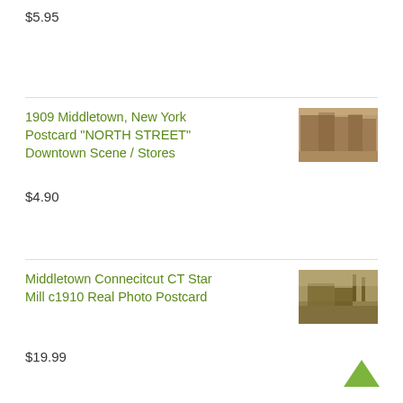$5.95
1909 Middletown, New York Postcard "NORTH STREET" Downtown Scene / Stores
[Figure (photo): Sepia-toned postcard showing North Street downtown scene with buildings and stores]
$4.90
Middletown Connecitcut CT Star Mill c1910 Real Photo Postcard
[Figure (photo): Sepia-toned real photo postcard showing Star Mill Middletown Connecticut c1910]
$19.99